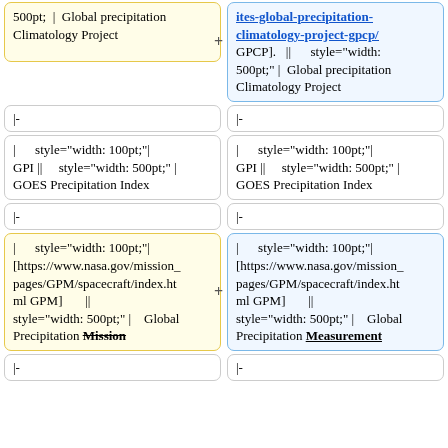500pt; | Global precipitation
− Climatology Project
+ [https://ites-global-precipitation-climatology-project-gpcp/ GPCP]. || style="width: 500pt;" | Global precipitation Climatology Project
|-
|-
| style="width: 100pt;"| GPI || style="width: 500pt;" | GOES Precipitation Index
| style="width: 100pt;"| GPI || style="width: 500pt;" | GOES Precipitation Index
|-
|-
− | style="width: 100pt;"| [https://www.nasa.gov/mission_pages/GPM/spacecraft/index.html GPM] || style="width: 500pt;" | Global Precipitation Mission
+ | style="width: 100pt;"| [https://www.nasa.gov/mission_pages/GPM/spacecraft/index.html GPM] || style="width: 500pt;" | Global Precipitation Measurement
|-
|-